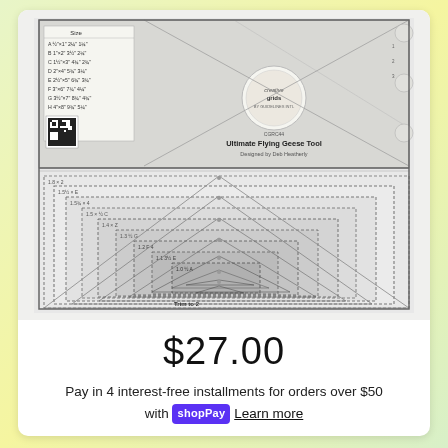[Figure (photo): Product image of the Creative Grids Ultimate Flying Geese Tool (CGRC44) - a quilting ruler/template showing multiple nested rectangle and triangle guides for different sizes, with a size chart table and QR code visible on the ruler. The bottom half shows the ruler laying flat with nested size guides visible.]
$27.00
Pay in 4 interest-free installments for orders over $50 with shop Pay Learn more